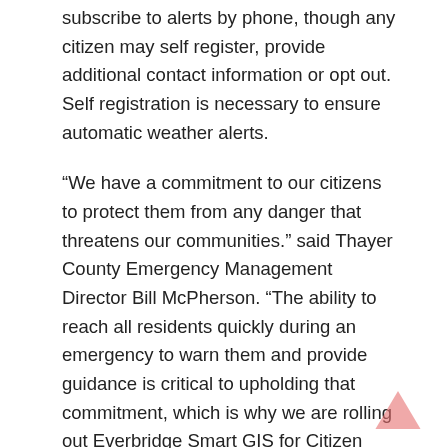subscribe to alerts by phone, though any citizen may self register, provide additional contact information or opt out. Self registration is necessary to ensure automatic weather alerts.
“We have a commitment to our citizens to protect them from any danger that threatens our communities.” said Thayer County Emergency Management Director Bill McPherson. “The ability to reach all residents quickly during an emergency to warn them and provide guidance is critical to upholding that commitment, which is why we are rolling out Everbridge Smart GIS for Citizen Alerts.
“The Everbridge emergency notification system ensures that Thayer County will be able to react accurately and efficiently in a natural disaster or other crisis.”
Jaime Ellertson, CEO of Everbridge, commented, “A robust emergency notification system is an essential tool for cities that need to notify thousands of residents and businesses rapidly and efficiently during an emergency.